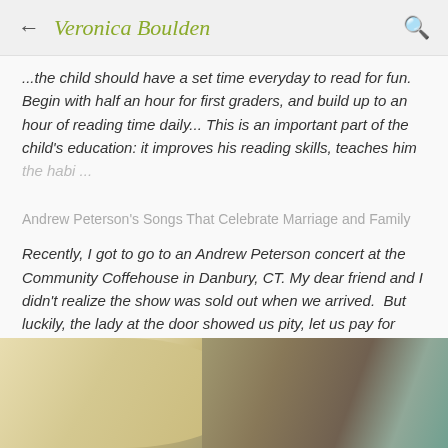← Veronica Boulden 🔍
...the child should have a set time everyday to read for fun. Begin with half an hour for first graders, and build up to an hour of reading time daily... This is an important part of the child's education: it improves his reading skills, teaches him the habi ...
Andrew Peterson's Songs That Celebrate Marriage and Family
Recently, I got to go to an Andrew Peterson concert at the Community Coffehouse in Danbury, CT. My dear friend and I didn't realize the show was sold out when we arrived.  But luckily, the lady at the door showed us pity, let us pay for tickets tha ...
[Figure (photo): Close-up photo of a person's head showing skin and hair against a teal/green background, cropped at the bottom of the page.]